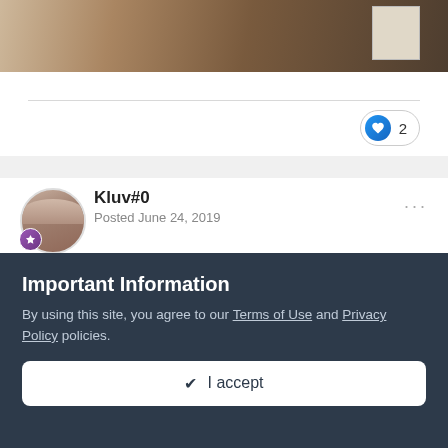[Figure (photo): Partial view of a photo showing wooden/shelf items and what appears to be a QR code or label in the upper right corner.]
2
Kluv#0
Posted June 24, 2019
6/24/19 went for Original WW max(vid below) and did 101.8lb - 8" pull for a small P.R. Hope I can get 103 by end of summer. Plate pinches with weight added to thumbside went pretty well and finished with parris device and heavy F.W.
Important Information
By using this site, you agree to our Terms of Use and Privacy Policy policies.
✔ I accept